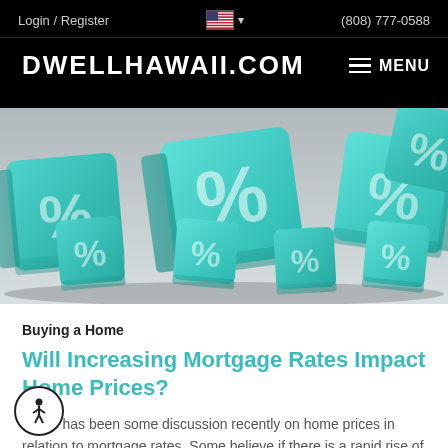Login / Register  (808) 777-0588  DWELLHAWAII.COM  MENU
[Figure (photo): 3D rendered teal/turquoise dice with percentage signs on all faces, scattered on a gray surface, representing mortgage rates]
Buying a Home
Will Increasing Mortgage Rates Impact Home Prices?
There has been some discussion recently on home prices in relation to mortgage rates. Some believe if there is a rapid rise of mortgage rates, home ...